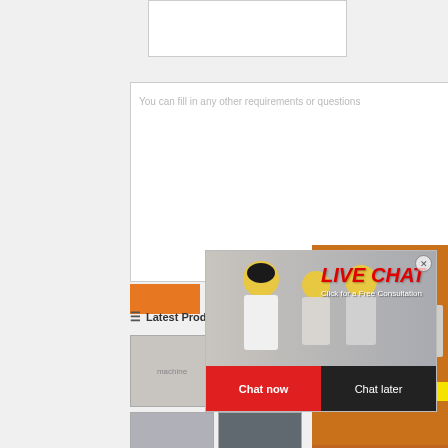[Figure (screenshot): Form input stub at top]
You can fill in any other requirements or questions
[Figure (screenshot): Live Chat popup with workers in hard hats. LIVE CHAT heading in red italic. Click for a Free Consultation subtitle. Chat now button in red, Chat later button in dark gray. Close X button top right.]
[Figure (screenshot): Right sidebar with orange background showing industrial machinery images, Enjoy 3% discount banner, Click to Chat in yellow, Enquiry section, limingjlmofen@sina.com contact]
Latest Product
[Figure (photo): Industrial machine thumbnail 1]
[Figure (photo): Industrial machine thumbnail 2]
[Figure (photo): Industrial machine thumbnail 3]
[Figure (photo): Industrial machine thumbnail 4]
[Figure (photo): Industrial machine thumbnail 5]
[Figure (photo): Industrial machine thumbnail 6]